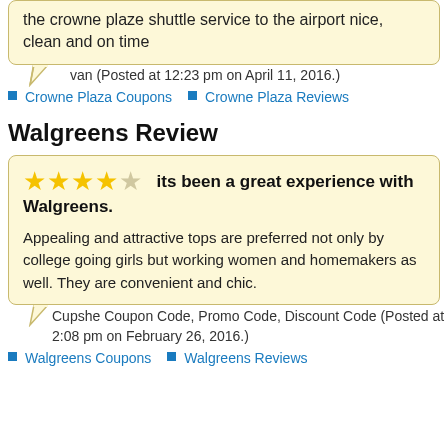the crowne plaze shuttle service to the airport nice, clean and on time
van (Posted at 12:23 pm on April 11, 2016.)
Crowne Plaza Coupons
Crowne Plaza Reviews
Walgreens Review
its been a great experience with Walgreens.
Appealing and attractive tops are preferred not only by college going girls but working women and homemakers as well. They are convenient and chic.
Cupshe Coupon Code, Promo Code, Discount Code (Posted at 2:08 pm on February 26, 2016.)
Walgreens Coupons
Walgreens Reviews